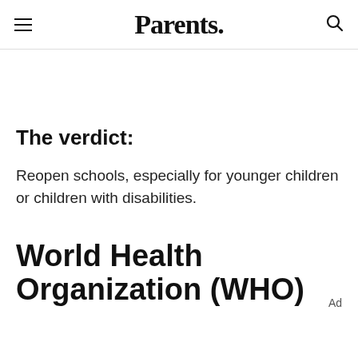Parents.
The verdict:
Reopen schools, especially for younger children or children with disabilities.
World Health Organization (WHO)